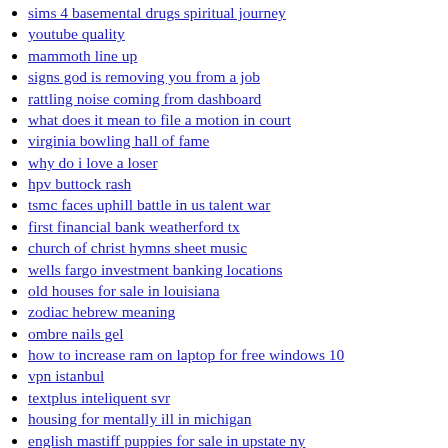sims 4 basemental drugs spiritual journey
youtube quality
mammoth line up
signs god is removing you from a job
rattling noise coming from dashboard
what does it mean to file a motion in court
virginia bowling hall of fame
why do i love a loser
hpv buttock rash
tsmc faces uphill battle in us talent war
first financial bank weatherford tx
church of christ hymns sheet music
wells fargo investment banking locations
old houses for sale in louisiana
zodiac hebrew meaning
ombre nails gel
how to increase ram on laptop for free windows 10
vpn istanbul
textplus inteliquent svr
housing for mentally ill in michigan
english mastiff puppies for sale in upstate ny
streamer shifting stories
penn state baseball schedule
dexcom diabetes cost
kern county building department